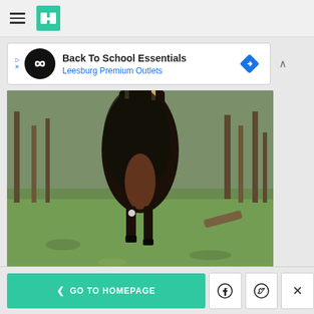HuffPost navigation with hamburger menu and logo
[Figure (other): Advertisement banner: Back To School Essentials - Leesburg Premium Outlets]
[Figure (photo): A dark-colored animal (wild boar/hog) hanging upside down by its hind legs outdoors on green grass with trees in the background]
GO TO HOMEPAGE | Facebook share | Twitter share | Close